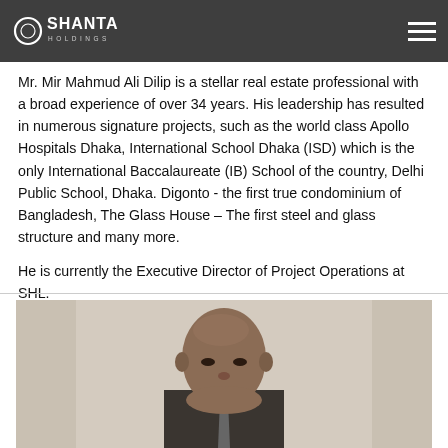Shanta Holdings
Mr. Mir Mahmud Ali Dilip is a stellar real estate professional with a broad experience of over 34 years. His leadership has resulted in numerous signature projects, such as the world class Apollo Hospitals Dhaka, International School Dhaka (ISD) which is the only International Baccalaureate (IB) School of the country, Delhi Public School, Dhaka. Digonto - the first true condominium of Bangladesh, The Glass House – The first steel and glass structure and many more.
He is currently the Executive Director of Project Operations at SHL.
[Figure (photo): Portrait photo of a man with a shaved head wearing a suit, against a light beige/grey background. Only the upper portion of the portrait is visible.]